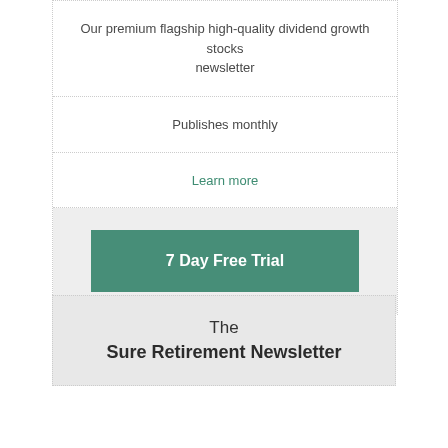Our premium flagship high-quality dividend growth stocks newsletter
Publishes monthly
Learn more
7 Day Free Trial
The Sure Retirement Newsletter